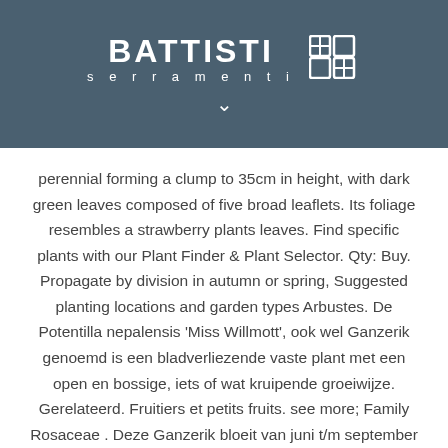[Figure (logo): Battisti Serramenti logo with brand name and grid icon on dark blue-grey header background]
perennial forming a clump to 35cm in height, with dark green leaves composed of five broad leaflets. Its foliage resembles a strawberry plants leaves. Find specific plants with our Plant Finder & Plant Selector. Qty: Buy. Propagate by division in autumn or spring, Suggested planting locations and garden types Arbustes. De Potentilla nepalensis 'Miss Willmott', ook wel Ganzerik genoemd is een bladverliezende vaste plant met een open en bossige, iets of wat kruipende groeiwijze. Gerelateerd. Fruitiers et petits fruits. see more; Family Rosaceae . Deze Ganzerik bloeit van juni t/m september met roze bloemen. This plant bears coarsely toothed, trifoliate leaves. Every. Generally